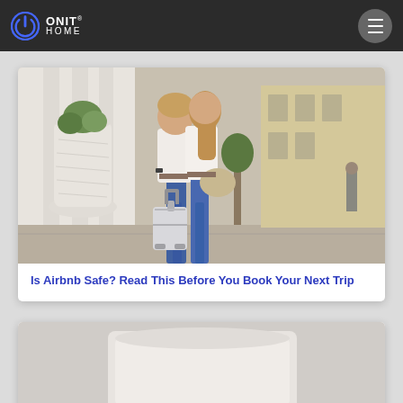[Figure (logo): Onit Home logo with power button icon on dark navbar]
[Figure (photo): Couple walking away from camera on a European street, pulling a suitcase, woman wearing white top and jeans, man with arm around woman]
Is Airbnb Safe? Read This Before You Book Your Next Trip
[Figure (photo): Partially visible image of what appears to be a toilet tank, cropped at bottom of page]